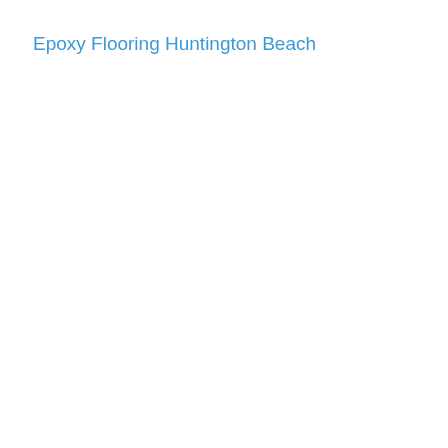Epoxy Flooring Huntington Beach